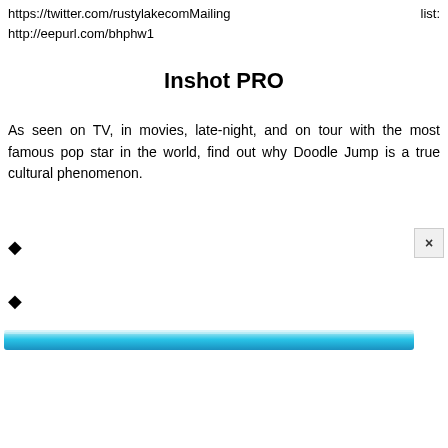https://twitter.com/rustylakecomMailing list: http://eepurl.com/bhphw1
Inshot PRO
As seen on TV, in movies, late-night, and on tour with the most famous pop star in the world, find out why Doodle Jump is a true cultural phenomenon.
◆
◆
[Figure (screenshot): Partial blue gradient advertisement banner with an X close button overlay in the bottom portion of the page]